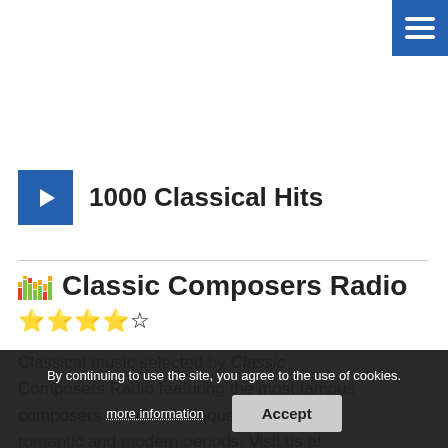[Figure (other): Blue hamburger menu icon button in top-right corner]
1000 Classical Hits
Classic Composers Radio
★★★★☆ (4 gold stars, 1 outline star)
Classical music selected by Classic Composers Radio featuring the most famous composers from the baroque, classical, romantic and modern periods. Visit us at classiccomposers.org.
By continuing to use the site, you agree to the use of cookies.
more information
Accept